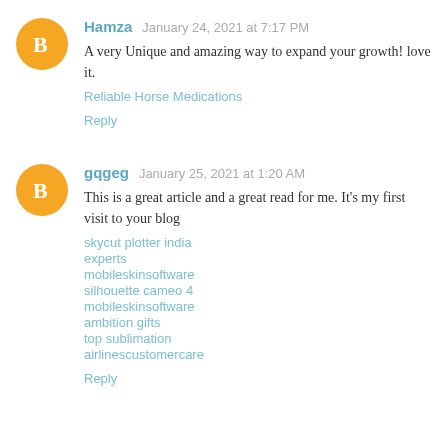Hamza  January 24, 2021 at 7:17 PM
A very Unique and amazing way to expand your growth! love it.
Reliable Horse Medications
Reply
gqgeg  January 25, 2021 at 1:20 AM
This is a great article and a great read for me. It's my first visit to your blog
skycut plotter india
experts
mobileskinsoftware
silhouette cameo 4
mobileskinsoftware
ambition gifts
top sublimation
airlinescustomercare
Reply